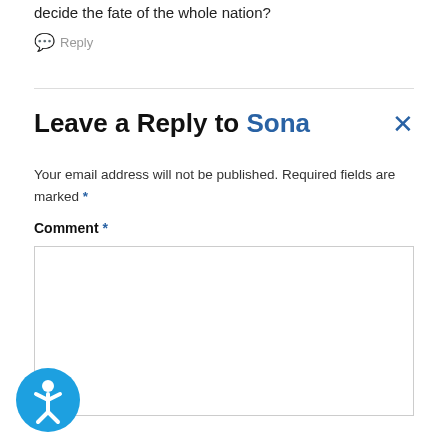decide the fate of the whole nation?
Reply
Leave a Reply to Sona
Your email address will not be published. Required fields are marked *
Comment *
[Figure (illustration): Blue circular accessibility button with a white person icon in the bottom-left corner]